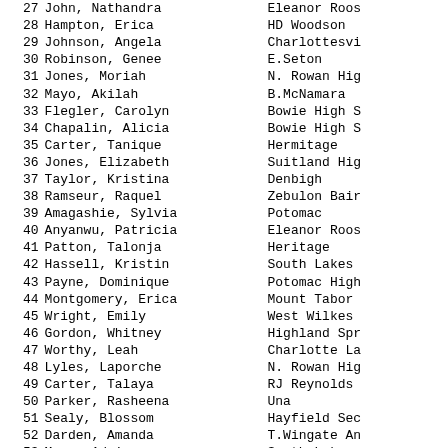| # | Name | School |
| --- | --- | --- |
| 27 | John, Nathandra | Eleanor Roos |
| 28 | Hampton, Erica | HD Woodson |
| 29 | Johnson, Angela | Charlottesvi |
| 30 | Robinson, Genee | E.Seton |
| 31 | Jones, Moriah | N. Rowan Hig |
| 32 | Mayo, Akilah | B.McNamara |
| 33 | Flegler, Carolyn | Bowie High S |
| 34 | Chapalin, Alicia | Bowie High S |
| 35 | Carter, Tanique | Hermitage |
| 36 | Jones, Elizabeth | Suitland Hig |
| 37 | Taylor, Kristina | Denbigh |
| 38 | Ramseur, Raquel | Zebulon Bair |
| 39 | Amagashie, Sylvia | Potomac |
| 40 | Anyanwu, Patricia | Eleanor Roos |
| 41 | Patton, Talonja | Heritage |
| 42 | Hassell, Kristin | South Lakes |
| 43 | Payne, Dominique | Potomac High |
| 44 | Montgomery, Erica | Mount Tabor |
| 45 | Wright, Emily | West Wilkes |
| 46 | Gordon, Whitney | Highland Spr |
| 47 | Worthy, Leah | Charlotte La |
| 48 | Lyles, Laporche | N. Rowan Hig |
| 49 | Carter, Talaya | RJ Reynolds |
| 50 | Parker, Rasheena | Una |
| 51 | Sealy, Blossom | Hayfield Sec |
| 52 | Darden, Amanda | T.Wingate An |
| 53 | Mayo, Adrienne | South Lakes |
| 54 | Stancil, Megan | Dunbar HS |
| 55 | Brown, Kelly | Dunbar HS |
| 56 | Musgrove, Joy | Bowie High S |